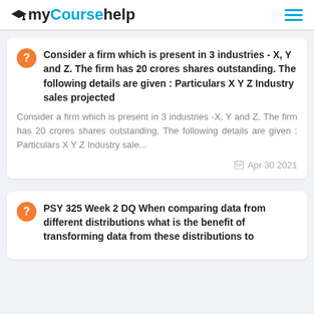myCoursehelp
Consider a firm which is present in 3 industries - X, Y and Z. The firm has 20 crores shares outstanding. The following details are given : Particulars X Y Z Industry sales projected
Consider a firm which is present in 3 industries -X, Y and Z. The firm has 20 crores shares outstanding. The following details are given : Particulars X Y Z Industry sale...
Apr 30 2021
PSY 325 Week 2 DQ When comparing data from different distributions what is the benefit of transforming data from these distributions to